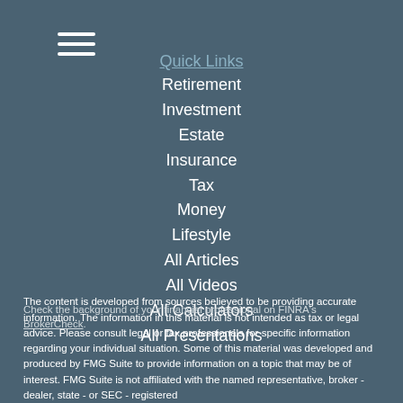[Figure (other): Hamburger menu icon with three horizontal white lines]
Quick Links
Retirement
Investment
Estate
Insurance
Tax
Money
Lifestyle
All Articles
All Videos
All Calculators
All Presentations
Check the background of your financial professional on FINRA's BrokerCheck.
The content is developed from sources believed to be providing accurate information. The information in this material is not intended as tax or legal advice. Please consult legal or tax professionals for specific information regarding your individual situation. Some of this material was developed and produced by FMG Suite to provide information on a topic that may be of interest. FMG Suite is not affiliated with the named representative, broker - dealer, state - or SEC - registered